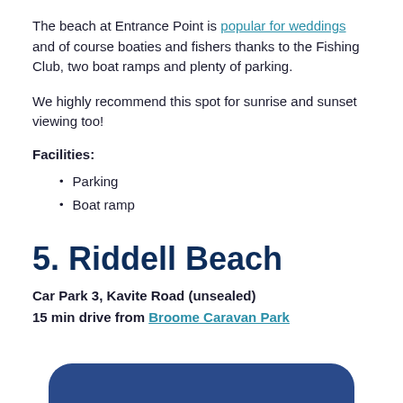The beach at Entrance Point is popular for weddings and of course boaties and fishers thanks to the Fishing Club, two boat ramps and plenty of parking.
We highly recommend this spot for sunrise and sunset viewing too!
Facilities:
Parking
Boat ramp
5. Riddell Beach
Car Park 3, Kavite Road (unsealed)
15 min drive from Broome Caravan Park